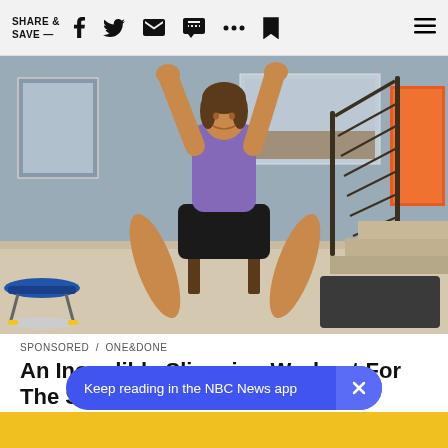SHARE & SAVE —
[Figure (photo): Woman in purple t-shirt and black shorts sitting on a wooden chair in a home interior, arms raised above her head doing an exercise. Background shows stairs with iron railing, artwork on walls, and a small round trampoline on the left.]
SPONSORED / ONE&DONE
An Incredible Slimming Workout For The Stomach
Keep reading in the NBC News app